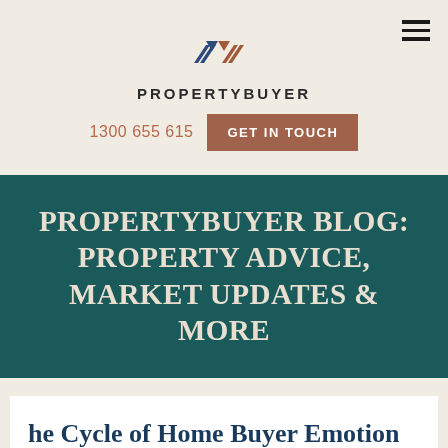[Figure (logo): PropertyBuyer logo with chevron/flag emblem above text PROPERTYBUYER]
1300 655 615
GET IN TOUCH
PROPERTYBUYER BLOG: PROPERTY ADVICE, MARKET UPDATES & MORE
he Cycle of Home Buyer Emotion